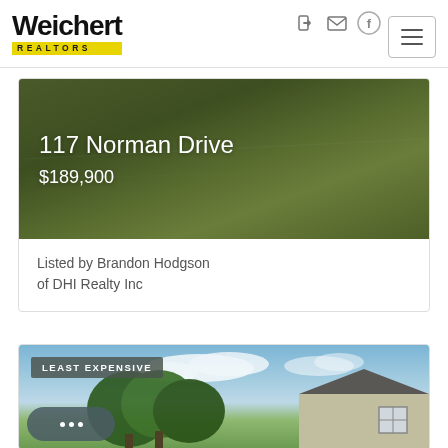Weichert REALTORS
117 Norman Drive
$189,900
Listed by Brandon Hodgson of DHI Realty Inc
[Figure (photo): Aerial green lawn photo used as listing background for 117 Norman Drive]
[Figure (photo): Photo of house exterior with blue sky and trees, tagged LEAST EXPENSIVE]